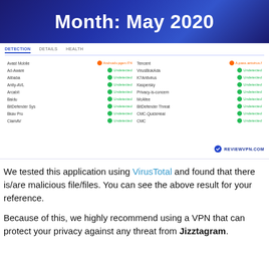Month: May 2020
[Figure (screenshot): VirusTotal scan results screenshot showing multiple antivirus engines and their detection results for a file. Left column includes: Avast Mobile, Ad-Aware, Alibaba, Antiy-AVL, Arcabit, Baidu, BitDefender Sys, Bkav Pro, ClamAV. Right column includes: Tencent, VirusBlokAda, K7Antivirus, Kaspersky, Privacy-is-concern, McAfee, BitDefender Threat, CMC-QuickHeal, CMC. Most results show Undetected (green) except Tencent which shows detected (orange). REVIEWVPN.COM watermark.]
We tested this application using VirusTotal and found that there is/are malicious file/files. You can see the above result for your reference.
Because of this, we highly recommend using a VPN that can protect your privacy against any threat from Jizztagram.